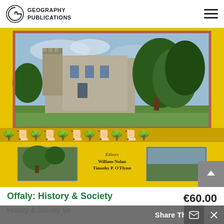Geography Publications
[Figure (photo): Book cover of 'Offaly: History & Society' from the History & Society Series by Geography Publications. Yellow cover with an image of a castle (likely Charleville Castle) surrounded by green lawns and trees, plus smaller inset images. Editors: William Nolan and Timothy P. O'Flynn. Decorative border at the bottom of the cover image area.]
Offaly: History & Society
€60.00
History & Society Se
Share This